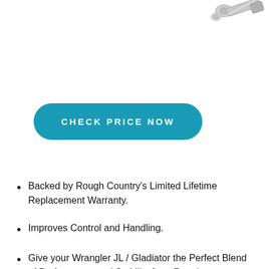[Figure (photo): Product image of bolts and hardware components, positioned in the top-right corner]
CHECK PRICE NOW
Backed by Rough Country's Limited Lifetime Replacement Warranty.
Improves Control and Handling.
Give your Wrangler JL / Gladiator the Perfect Blend of Performance and Stability from Rough